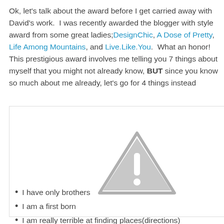Ok, let's talk about the award before I get carried away with David's work.  I was recently awarded the blogger with style award from some great ladies;DesignChic, A Dose of Pretty, Life Among Mountains, and Live.Like.You.  What an honor! This prestigious award involves me telling you 7 things about myself that you might not already know, BUT since you know so much about me already, let's go for 4 things instead
[Figure (other): Broken image placeholder showing a grey warning triangle with exclamation mark]
I have only brothers
I am a first born
I am really terrible at finding places(directions)